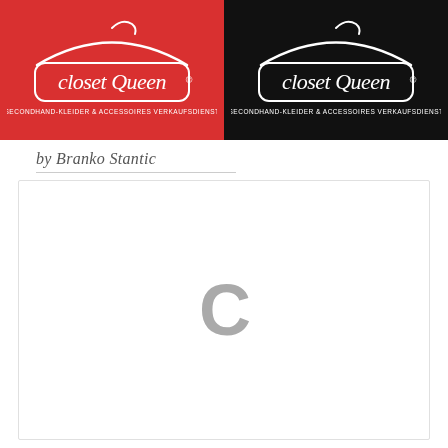[Figure (logo): ClosetQueen logo shown twice side by side — left version on red background, right version on black background. Logo shows stylized cursive 'closetQueen®' text with a hanger graphic above, and tagline 'SECONDHAND-KLEIDER & ACCESSOIRES VERKAUFSDIENST' below.]
by Branko Stantic
[Figure (other): Large white content area with a gray loading spinner 'C' icon centered, indicating page content is loading.]